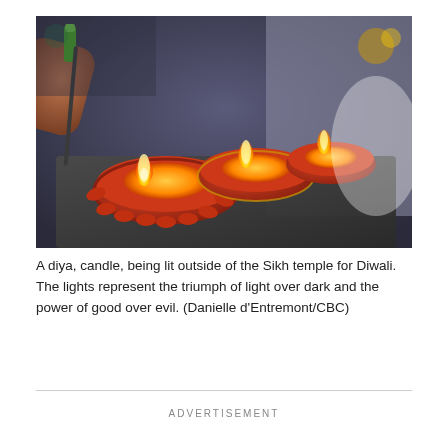[Figure (photo): A close-up photo of decorative clay diya oil lamps with red and orange decoration being lit with a lighter. The diyas have yellow flames and are arranged on a dark slate surface. A hand holding a green lighter is visible at top left.]
A diya, candle, being lit outside of the Sikh temple for Diwali. The lights represent the triumph of light over dark and the power of good over evil. (Danielle d'Entremont/CBC)
ADVERTISEMENT